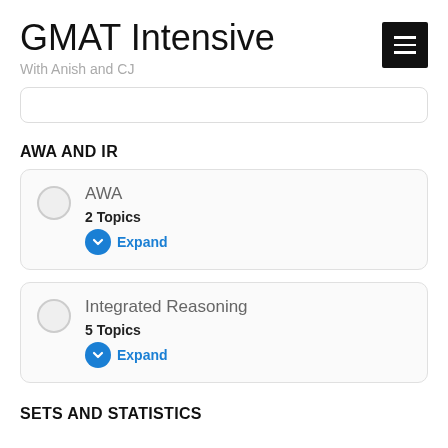GMAT Intensive
With Anish and CJ
AWA AND IR
AWA
2 Topics
Expand
Integrated Reasoning
5 Topics
Expand
SETS AND STATISTICS